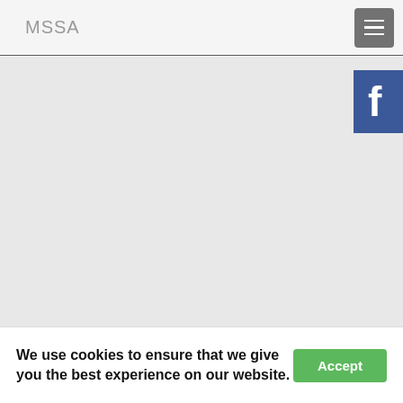MSSA
[Figure (logo): Facebook icon — white 'f' on blue square background, top right of main area]
Copyright © 2022 MSSA. All Rights Reserved.
Privacy Policy
We use cookies to ensure that we give you the best experience on our website.